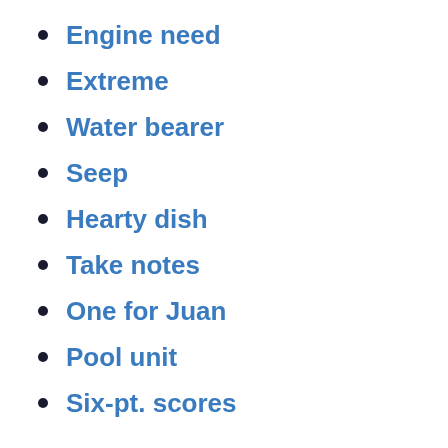Engine need
Extreme
Water bearer
Seep
Hearty dish
Take notes
One for Juan
Pool unit
Six-pt. scores